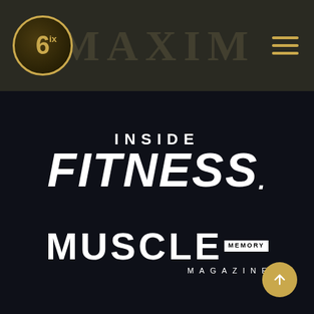[Figure (logo): Header bar with six IX circular logo on left with gold border, MAXIM watermark text centered, and gold hamburger menu icon on right]
[Figure (logo): Inside FITNESS magazine logo in white bold italic text on dark background]
[Figure (logo): MUSCLE MEMORY MAGAZINE logo in white bold text with MEMORY in a black/white badge, MAGAZINE in spaced letters below, on dark background]